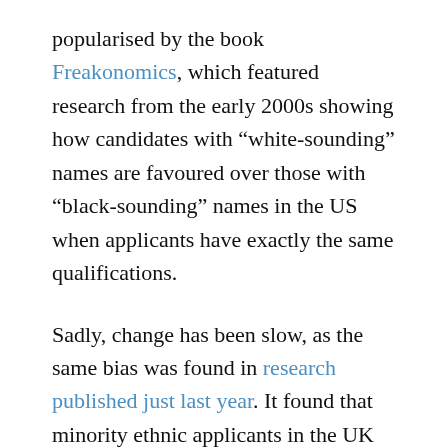popularised by the book Freakonomics, which featured research from the early 2000s showing how candidates with “white-sounding” names are favoured over those with “black-sounding” names in the US when applicants have exactly the same qualifications.
Sadly, change has been slow, as the same bias was found in research published just last year. It found that minority ethnic applicants in the UK had to send 60% more applications to get a job interview than their white counterparts. For people of Nigerian and Middle Eastern and North African origin it was 80% and 90%, respectively.